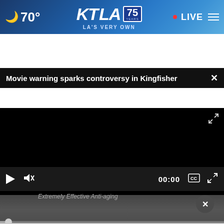70° KTLA 75 YEARS LA'S VERY OWN • LIVE
Movie warning sparks controversy in Kingfisher
[Figure (screenshot): Black video player area with progress bar and playback controls showing 00:00 timestamp, mute icon, CC, and fullscreen buttons]
Extremely Effective Anti-aging
[Figure (infographic): Advertisement banner for Tire Auto in Ashburn showing OPEN 7:30AM-6PM, 43781 Parkhurst Plaza, Ashburn with logo and navigation arrow]